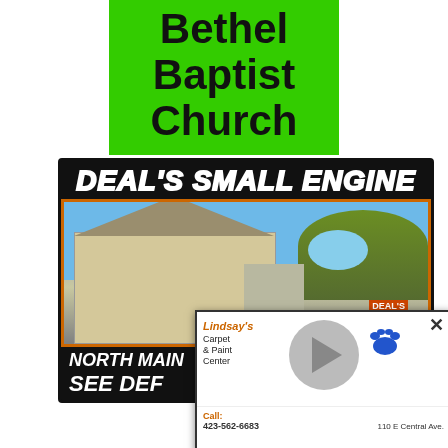Bethel Baptist Church
[Figure (photo): Deal's Small Engine advertisement with photo of the building, text NORTH MAIN and SEE DEF]
[Figure (photo): Lindsay's Carpet & Paint Center video overlay ad with play button, paw logo, Call: 423-562-6683, 110 E Central Ave.]